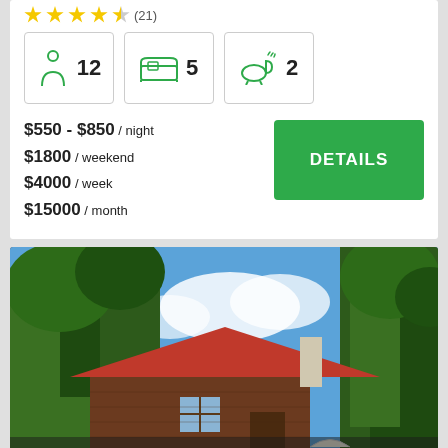(21) stars rating
12 guests, 5 bedrooms, 2 bathrooms
$550 - $850 / night
$1800 / weekend
$4000 / week
$15000 / month
DETAILS
[Figure (photo): Exterior photo of a cabin/lodge with red roof surrounded by green trees under blue sky]